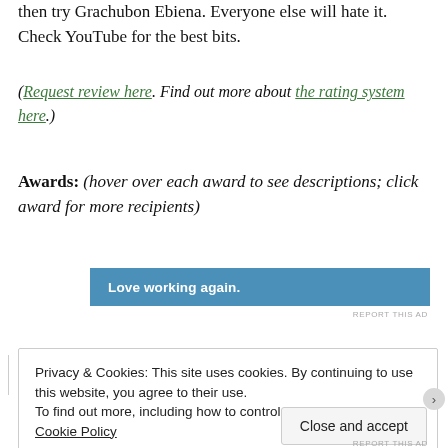then try Grachubon Ebiena. Everyone else will hate it. Check YouTube for the best bits.
(Request review here. Find out more about the rating system here.)
Awards: (hover over each award to see descriptions; click award for more recipients)
[Figure (other): Blue advertisement banner reading 'Love working again.']
REPORT THIS AD
Privacy & Cookies: This site uses cookies. By continuing to use this website, you agree to their use. To find out more, including how to control cookies, see here: Cookie Policy
Close and accept
REPORT THIS AD